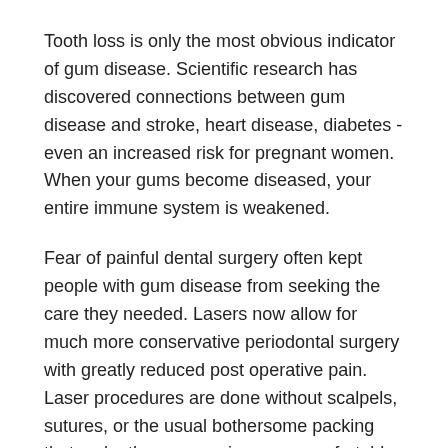Tooth loss is only the most obvious indicator of gum disease. Scientific research has discovered connections between gum disease and stroke, heart disease, diabetes - even an increased risk for pregnant women. When your gums become diseased, your entire immune system is weakened.
Fear of painful dental surgery often kept people with gum disease from seeking the care they needed. Lasers now allow for much more conservative periodontal surgery with greatly reduced post operative pain. Laser procedures are done without scalpels, sutures, or the usual bothersome packing that make these surgeries so uncomfortable.
About Periodontitis
Periodontitis is a form of gum disease. It is a chronic